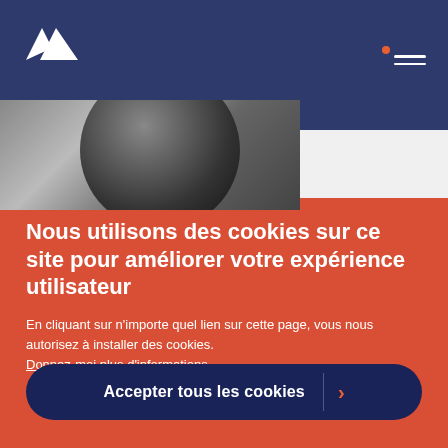[Figure (logo): White triangular logo mark (two overlapping triangles) on navy background, top left]
[Figure (photo): Black and white close-up photo of a dark stone or ball, partially visible on left side]
Nous utilisons des cookies sur ce site pour améliorer votre expérience utilisateur
En cliquant sur n'importe quel lien sur cette page, vous nous autorisez à installer des cookies. Donnez-moi plus d'informations.
Accepter tous les cookies